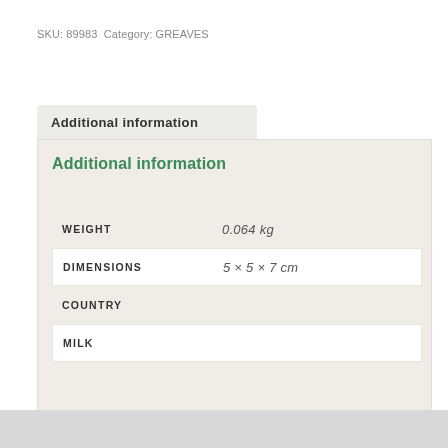SKU: 89983  Category: GREAVES
Additional information
Additional information
| Attribute | Value |
| --- | --- |
| WEIGHT | 0.064 kg |
| DIMENSIONS | 5 × 5 × 7 cm |
| COUNTRY |  |
| MILK |  |